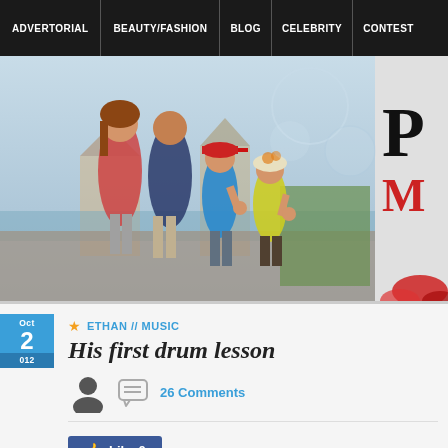ADVERTORIAL | BEAUTY/FASHION | BLOG | CELEBRITY | CONTEST
[Figure (photo): Family photo of two adults and two children posing together at what appears to be a Balinese temple, with decorative bubbles overlay. Partial text visible on right: large black 'P' and red 'M'.]
ETHAN // MUSIC
His first drum lesson
26 Comments
Like 0